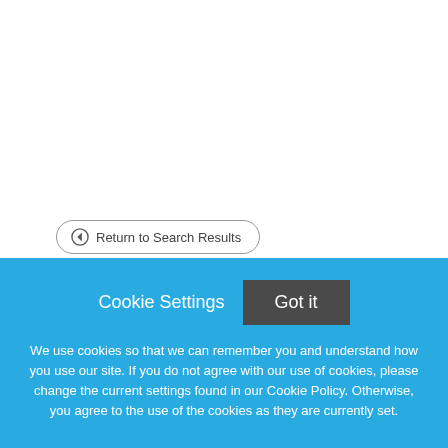← Return to Search Results
B/C Family Medicine Physician, Golden View Family Practice, Golden CO
New West Physicians As a part of the OptumCare
Cookie Settings   Got it
We use cookies so that we can remember you and understand how you use our site. If you do not agree with our use of cookies, please change the current settings found in our Cookie Policy. Otherwise, you agree to the use of the cookies as they are currently set.